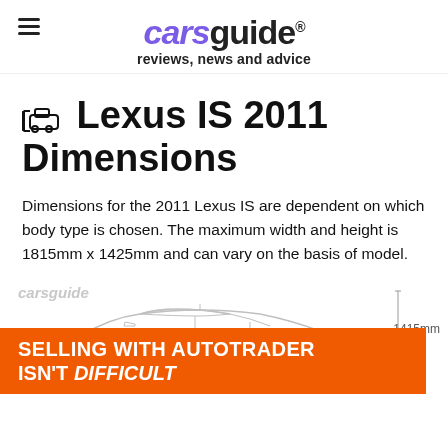carsguide® reviews, news and advice
Lexus IS 2011 Dimensions
Dimensions for the 2011 Lexus IS are dependent on which body type is chosen. The maximum width and height is 1815mm x 1425mm and can vary on the basis of model.
[Figure (illustration): Side-profile line drawing of a Lexus IS 2011 convertible/sedan with a vertical dimension line on the right side showing 1415mm height. A 'carsguide' watermark appears in the lower-left of the illustration. An orange advertisement banner overlays the bottom portion reading 'SELLING WITH AUTOTRADER ISN'T DIFFICULT'.]